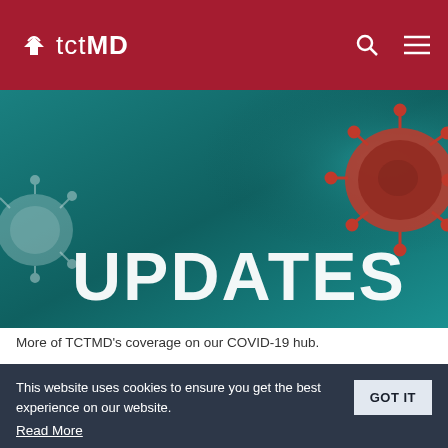tctMD
[Figure (photo): Hero banner image showing the word UPDATES in large white text over a teal/dark background with COVID-19 coronavirus particle imagery on the right side]
More of TCTMD's coverage on our COVID-19 hub.
At the Liverpool Heart and Chest Hospital in England, Rod Stables, MD, characterized his hospital as experiencing the “calm before the storm.” Yet during the night spent on call before speaking with TCTMD, he did three cases between 5 and 10 PM, then not a single call all night. “That’s unheard of in our place,” he said. Ever
This website uses cookies to ensure you get the best experience on our website.
Read More